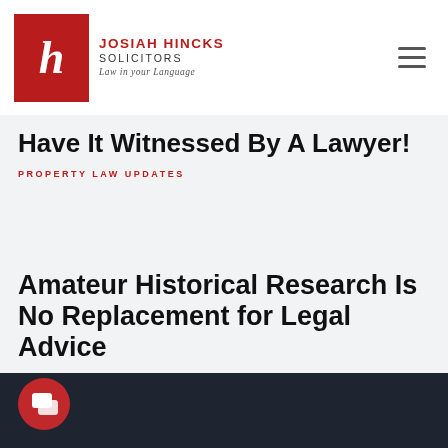JOSIAH HINCKS SOLICITORS — Law in your Language
Have It Witnessed By A Lawyer!
PROPERTY LAW UPDATES
Amateur Historical Research Is No Replacement for Legal Advice
PROPERTY LAW UPDATES